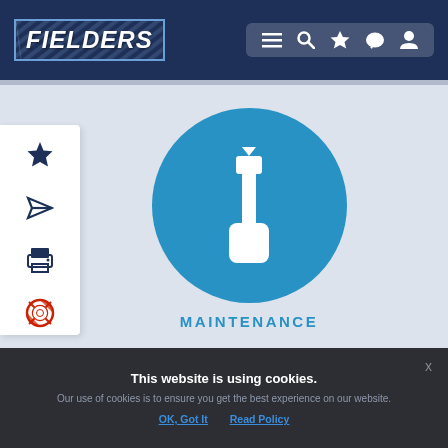[Figure (logo): Fielders logo - white italic text in a bordered box with diagonal stripe pattern on dark navy background]
[Figure (screenshot): Navigation bar icons: hamburger menu, search, star, chat bubble, user profile icons on dark navy background]
[Figure (screenshot): Side panel with star, send/share, print, and help/lifesaver icons on white panel]
[Figure (illustration): Blue circle icon containing a white screwdriver illustration]
MAINTENANCE
This website is using cookies.
Our use of cookies is to ensure you get the best experience on our website.
OK, Got It   Read Policy